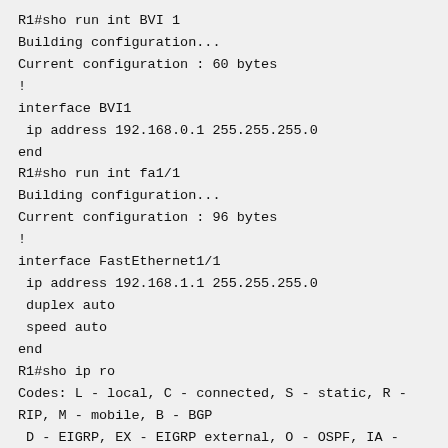R1#sho run int BVI 1
Building configuration...
Current configuration : 60 bytes
!
interface BVI1
  ip address 192.168.0.1 255.255.255.0
end
R1#sho run int fa1/1
Building configuration...
Current configuration : 96 bytes
!
interface FastEthernet1/1
  ip address 192.168.1.1 255.255.255.0
  duplex auto
  speed auto
end
R1#sho ip ro
Codes: L - local, C - connected, S - static, R - RIP, M - mobile, B - BGP
  D - EIGRP, EX - EIGRP external, O - OSPF, IA - OSPF inter area
  N1 - OSPF NSSA external type 1, N2 - OSPF NSSA external type 2
  E1 - OSPF external type 1, E2 - OSPF external type 2